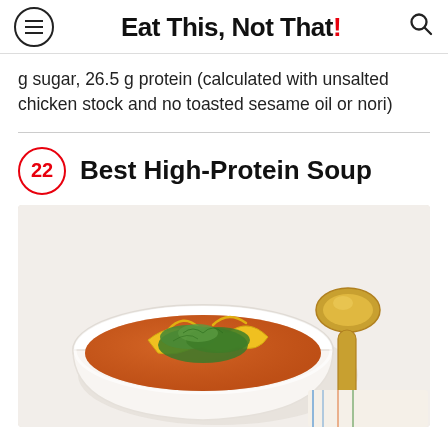Eat This, Not That!
g sugar, 26.5 g protein (calculated with unsalted chicken stock and no toasted sesame oil or nori)
22 Best High-Protein Soup
[Figure (photo): A white bowl of orange/red soup topped with yellow bell pepper strips and fresh herbs, accompanied by a gold spoon, photographed from above on a white background.]